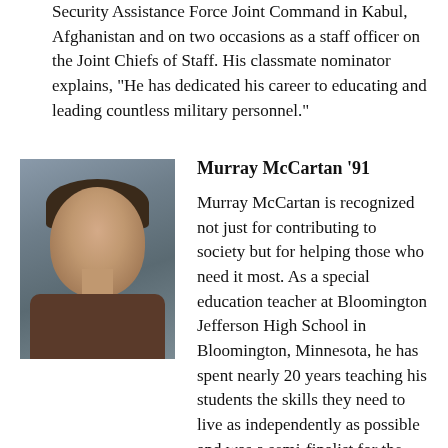Security Assistance Force Joint Command in Kabul, Afghanistan and on two occasions as a staff officer on the Joint Chiefs of Staff. His classmate nominator explains, "He has dedicated his career to educating and leading countless military personnel."
[Figure (photo): Headshot photo of Murray McCartan, a middle-aged man with short dark hair, smiling, wearing a dark striped shirt, against a gray background.]
Murray McCartan '91
Murray McCartan is recognized not just for contributing to society but for helping those who need it most. As a special education teacher at Bloomington Jefferson High School in Bloomington, Minnesota, he has spent nearly 20 years teaching his students the skills they need to live as independently as possible and was a semi-finalist for the 2013 Minnesota teacher of the year. When one of his children was diagnosed with neurofibromatosis, he threw his passion for fitness into the Children's Tumor Foundation's Minnesota NF Endurance team and continues to do endurance runs and